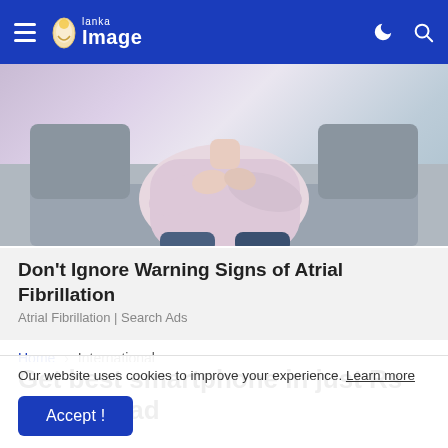Lanka Image — navigation bar with hamburger menu, logo, moon icon, search icon
[Figure (photo): Person sitting on a sofa holding their chest/upper body, wearing a light pink top and blue jeans, partial view from neck down — advertisement image for Atrial Fibrillation]
Don't Ignore Warning Signs of Atrial Fibrillation
Atrial Fibrillation | Search Ads
Home › International
Get best smartphone in just Rs 10000, read
Our website uses cookies to improve your experience. Learn more
Accept !